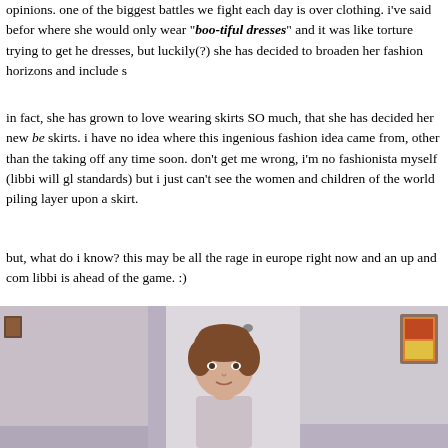opinions. one of the biggest battles we fight each day is over clothing. i've said befor where she would only wear "boo-tiful dresses" and it was like torture trying to get h dresses, but luckily(?) she has decided to broaden her fashion horizons and include s
in fact, she has grown to love wearing skirts SO much, that she has decided her new be skirts. i have no idea where this ingenious fashion idea came from, other than the taking off any time soon. don't get me wrong, i'm no fashionista myself (libbi will gl standards) but i just can't see the women and children of the world piling layer upon a skirt.
but, what do i know? this may be all the rage in europe right now and an up and com libbi is ahead of the game. :)
[Figure (photo): Three photos of a young girl in a room, showing her outfit. Left photo shows mostly a white wall with a small framed piece on the wall. Center photo shows the girl from waist up, with short brown hair, smiling slightly at the camera. Right photo shows the right side of the room with a colorful framed picture on the wall.]